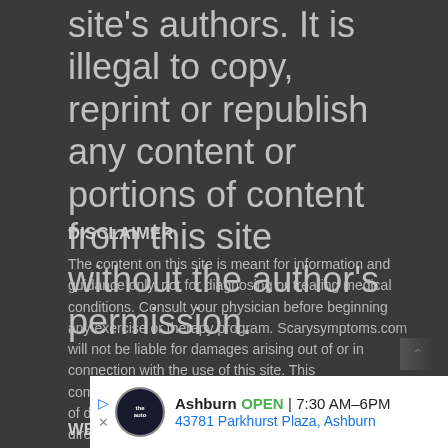All text is copyright property of this site's authors. It is illegal to copy, reprint or republish any content or portions of content from this site without the author's permission.
DISCLAIMER
The content on this site is meant for information and guidance only, not for diagnosing or treating medical conditions. Consult your physician before beginning any exercise or therapy program. Scarysymptoms.com will not be liable for damages arising out of or in connection with the use of this site. This comprehensive limitation of liability applies to any kind of damage incl (without limitation) compensatory, direct, indirect or consequential, loss of income or profit, loss of or damage to property and claims of third parties.
WEBSITE ADVERTISING DISCLAIMER